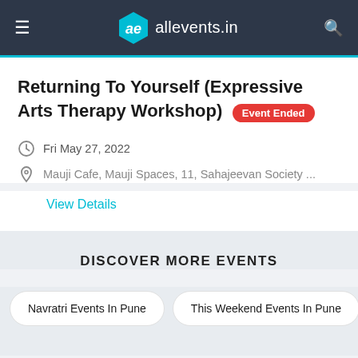allevents.in
Returning To Yourself (Expressive Arts Therapy Workshop) Event Ended
Fri May 27, 2022
Mauji Cafe, Mauji Spaces, 11, Sahajeevan Society ...
View Details
DISCOVER MORE EVENTS
Navratri Events In Pune
This Weekend Events In Pune